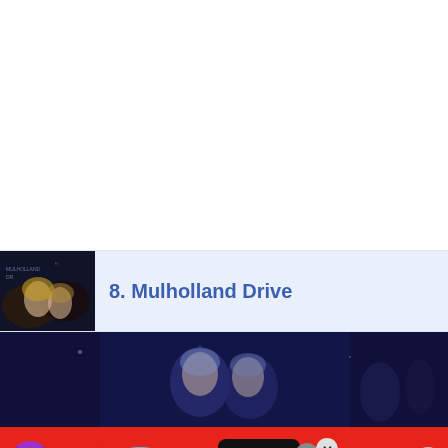[Figure (screenshot): White blank space at top of page]
[Figure (photo): Movie poster thumbnail for Mulholland Drive - dark background with faces and movie title text]
8. Mulholland Drive
[Figure (photo): Dark blue-toned scene from Mulholland Drive film showing figures in a dark setting]
[Figure (screenshot): BitLife advertisement banner with red background, emoji characters (devil, girl, angel emoji, sperm emoji), BitLife logo with question mark, and 'REAL CHOICES' tagline]